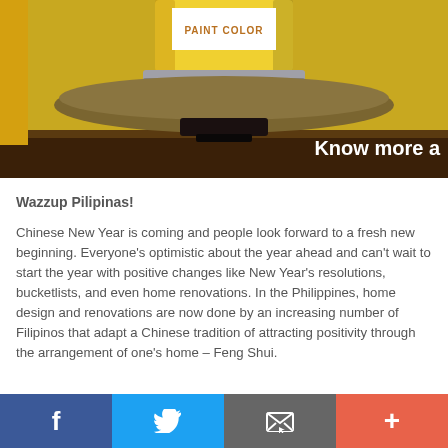[Figure (photo): A yellow paint can with a white label reading 'PAINT COLOR' on a cushioned seat/pedestal on a wooden floor. Text overlay reads 'Know more a' (partially visible).]
Wazzup Pilipinas!
Chinese New Year is coming and people look forward to a fresh new beginning. Everyone's optimistic about the year ahead and can't wait to start the year with positive changes like New Year's resolutions, bucketlists, and even home renovations. In the Philippines, home design and renovations are now done by an increasing number of Filipinos that adapt a Chinese tradition of attracting positivity through the arrangement of one's home – Feng Shui.
Facebook | Twitter | Email | Plus